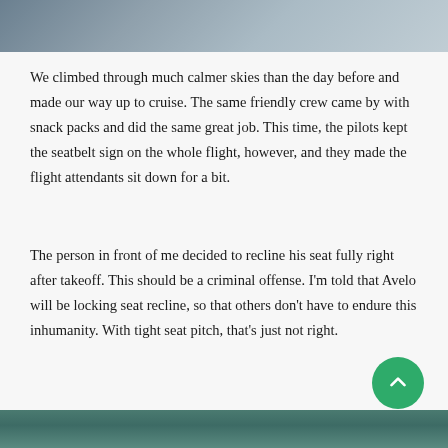[Figure (photo): Aerial view of landscape from airplane window, showing terrain and sky]
We climbed through much calmer skies than the day before and made our way up to cruise. The same friendly crew came by with snack packs and did the same great job. This time, the pilots kept the seatbelt sign on the whole flight, however, and they made the flight attendants sit down for a bit.
The person in front of me decided to recline his seat fully right after takeoff. This should be a criminal offense. I'm told that Avelo will be locking seat recline, so that others don't have to endure this inhumanity. With tight seat pitch, that's just not right.
[Figure (photo): Partial view of photo at bottom of page, appears to show interior or close-up subject]